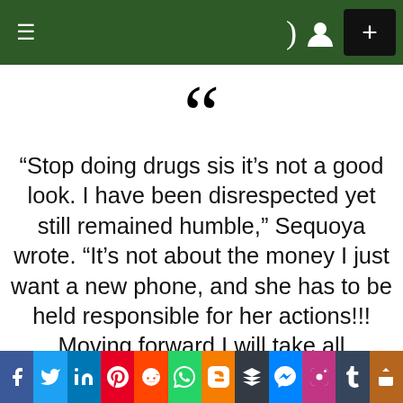Navigation bar with hamburger menu, dark/light mode toggle, user icon, and plus button
[Figure (illustration): Large decorative opening double quotation mark in black]
“Stop doing drugs sis it’s not a good look. I have been disrespected yet still remained humble,” Sequoya wrote. “It’s not about the money I just want a new phone, and she has to be held responsible for her actions!!! Moving forward I will take all measures to make sure she is not able to do any
Social share bar: Facebook, Twitter, LinkedIn, Pinterest, Reddit, WhatsApp, Blogger, Buffer, Messenger, Instagram, Tumblr, Share